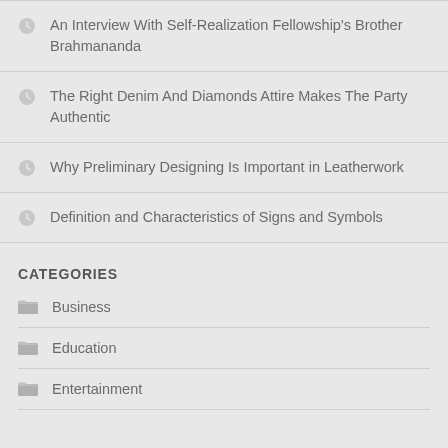An Interview With Self-Realization Fellowship's Brother Brahmananda
The Right Denim And Diamonds Attire Makes The Party Authentic
Why Preliminary Designing Is Important in Leatherwork
Definition and Characteristics of Signs and Symbols
CATEGORIES
Business
Education
Entertainment